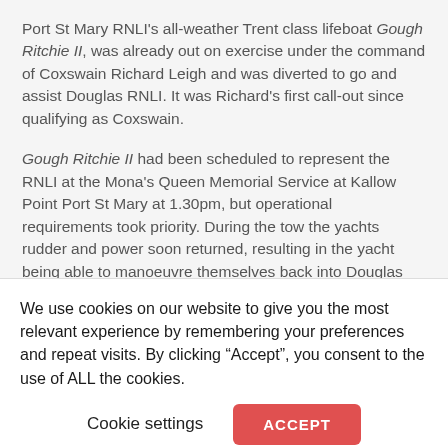Port St Mary RNLI's all-weather Trent class lifeboat Gough Ritchie II, was already out on exercise under the command of Coxswain Richard Leigh and was diverted to go and assist Douglas RNLI. It was Richard's first call-out since qualifying as Coxswain.
Gough Ritchie II had been scheduled to represent the RNLI at the Mona's Queen Memorial Service at Kallow Point Port St Mary at 1.30pm, but operational requirements took priority. During the tow the yachts rudder and power soon returned, resulting in the yacht being able to manoeuvre themselves back into Douglas harbour, escorted by both
We use cookies on our website to give you the most relevant experience by remembering your preferences and repeat visits. By clicking “Accept”, you consent to the use of ALL the cookies.